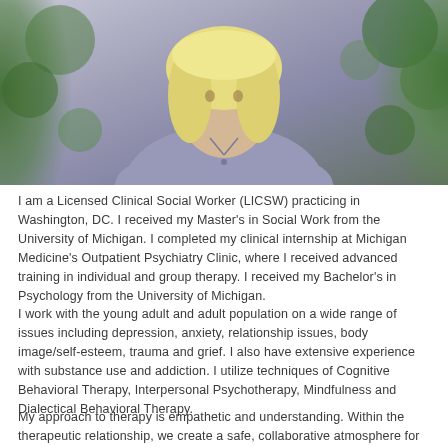[Figure (photo): Portrait photo of a blonde woman wearing a lavender/grey henley shirt, seated outdoors with green foliage in the background.]
I am a Licensed Clinical Social Worker (LICSW) practicing in Washington, DC. I received my Master's in Social Work from the University of Michigan. I completed my clinical internship at Michigan Medicine's Outpatient Psychiatry Clinic, where I received advanced training in individual and group therapy. I received my Bachelor's in Psychology from the University of Michigan.
I work with the young adult and adult population on a wide range of issues including depression, anxiety, relationship issues, body image/self-esteem, trauma and grief. I also have extensive experience with substance use and addiction. I utilize techniques of Cognitive Behavioral Therapy, Interpersonal Psychotherapy, Mindfulness and Dialectical Behavioral Therapy.
My approach to therapy is empathetic and understanding. Within the therapeutic relationship, we create a safe, collaborative atmosphere for you to gain greater insight into yourself and the issues you are facing. I provide